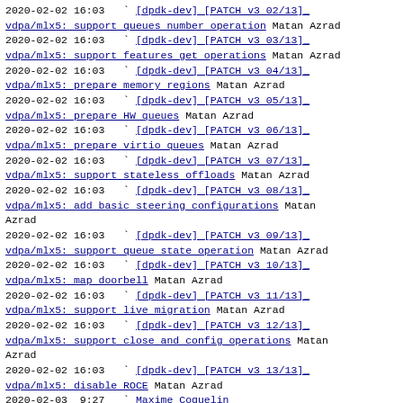2020-02-02 16:03  ` [dpdk-dev] [PATCH v3 02/13] vdpa/mlx5: support queues number operation Matan Azrad
2020-02-02 16:03  ` [dpdk-dev] [PATCH v3 03/13] vdpa/mlx5: support features get operations Matan Azrad
2020-02-02 16:03  ` [dpdk-dev] [PATCH v3 04/13] vdpa/mlx5: prepare memory regions Matan Azrad
2020-02-02 16:03  ` [dpdk-dev] [PATCH v3 05/13] vdpa/mlx5: prepare HW queues Matan Azrad
2020-02-02 16:03  ` [dpdk-dev] [PATCH v3 06/13] vdpa/mlx5: prepare virtio queues Matan Azrad
2020-02-02 16:03  ` [dpdk-dev] [PATCH v3 07/13] vdpa/mlx5: support stateless offloads Matan Azrad
2020-02-02 16:03  ` [dpdk-dev] [PATCH v3 08/13] vdpa/mlx5: add basic steering configurations Matan Azrad
2020-02-02 16:03  ` [dpdk-dev] [PATCH v3 09/13] vdpa/mlx5: support queue state operation Matan Azrad
2020-02-02 16:03  ` [dpdk-dev] [PATCH v3 10/13] vdpa/mlx5: map doorbell Matan Azrad
2020-02-02 16:03  ` [dpdk-dev] [PATCH v3 11/13] vdpa/mlx5: support live migration Matan Azrad
2020-02-02 16:03  ` [dpdk-dev] [PATCH v3 12/13] vdpa/mlx5: support close and config operations Matan Azrad
2020-02-02 16:03  ` [dpdk-dev] [PATCH v3 13/13] vdpa/mlx5: disable ROCE Matan Azrad
2020-02-03  9:27  ` Maxime Coquelin
2020-02-03 11:00  ` Maxime Coquelin
2020-02-03 12:44  ` Matan Azrad [this message]
2020-02-03 12:45  ` Maxime Coquelin